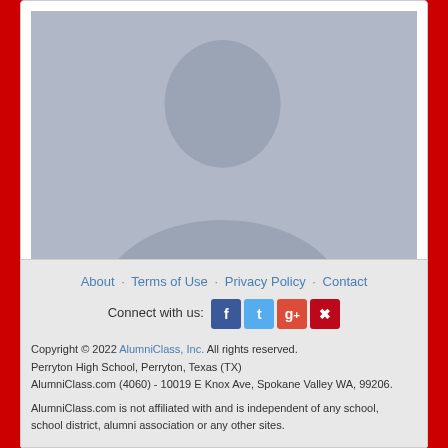[Figure (illustration): Gray silhouette placeholder avatar image for Calvin Woodard]
Calvin Woodard
class of '59
About · Terms of Use · Privacy Policy · Contact
Connect with us: [Facebook] [Twitter] [Google+] [Pinterest]
Copyright © 2022 AlumniClass, Inc. All rights reserved.
Perryton High School, Perryton, Texas (TX)
AlumniClass.com (4060) - 10019 E Knox Ave, Spokane Valley WA, 99206.
AlumniClass.com is not affiliated with and is independent of any school, school district, alumni association or any other sites.